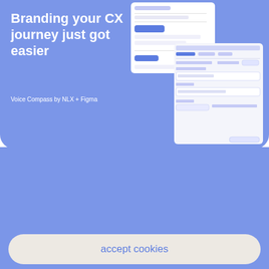Branding your CX journey just got easier
Voice Compass by NLX + Figma
[Figure (screenshot): Two overlapping UI screenshots showing a chat/voice interface builder tool with form fields and navigation elements on a blue/light background]
By clicking accept cookies, you agree to the storing of cookies on your device to enhance site navigation, analyze site usage, and assist in our marketing efforts.
more info
accept cookies